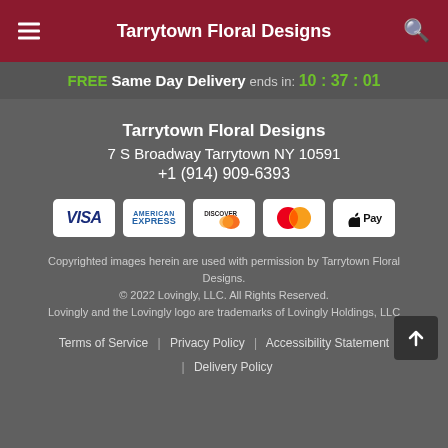Tarrytown Floral Designs
FREE Same Day Delivery ends in: 10:37:01
Tarrytown Floral Designs
7 S Broadway Tarrytown NY 10591
+1 (914) 909-6393
[Figure (logo): Payment method icons: Visa, American Express, Discover, MasterCard, Apple Pay]
Copyrighted images herein are used with permission by Tarrytown Floral Designs.
© 2022 Lovingly, LLC. All Rights Reserved.
Lovingly and the Lovingly logo are trademarks of Lovingly Holdings, LLC
Terms of Service | Privacy Policy | Accessibility Statement | Delivery Policy